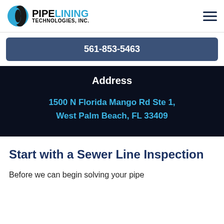PIPE LINING TECHNOLOGIES, INC.
561-853-5463
Address
1500 N Florida Mango Rd Ste 1,
West Palm Beach, FL 33409
Start with a Sewer Line Inspection
Before we can begin solving your pipe